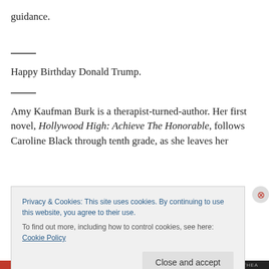guidance.
Happy Birthday Donald Trump.
Amy Kaufman Burk is a therapist-turned-author. Her first novel, Hollywood High: Achieve The Honorable, follows Caroline Black through tenth grade, as she leaves her
Privacy & Cookies: This site uses cookies. By continuing to use this website, you agree to their use.
To find out more, including how to control cookies, see here: Cookie Policy
Close and accept